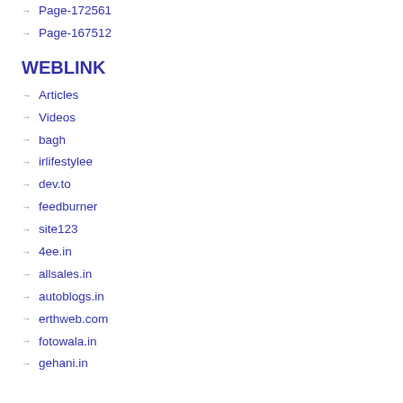Page-172561
Page-167512
WEBLINK
Articles
Videos
bagh
irlifestylee
dev.to
feedburner
site123
4ee.in
allsales.in
autoblogs.in
erthweb.com
fotowala.in
gehani.in